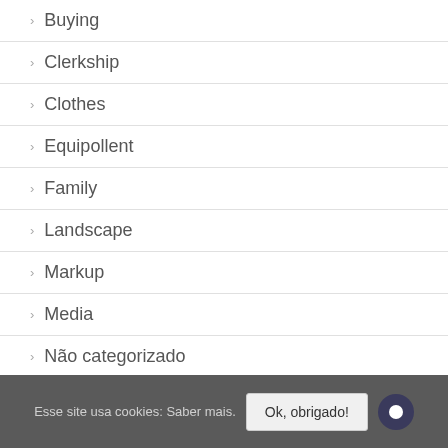Buying
Clerkship
Clothes
Equipollent
Family
Landscape
Markup
Media
Não categorizado
News
Esse site usa cookies: Saber mais.   Ok, obrigado!